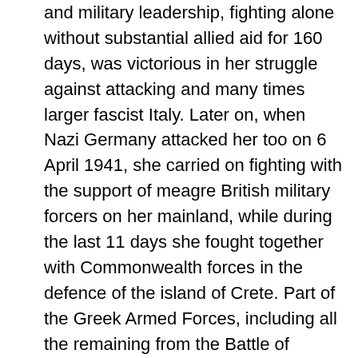and military leadership, fighting alone without substantial allied aid for 160 days, was victorious in her struggle against attacking and many times larger fascist Italy. Later on, when Nazi Germany attacked her too on 6 April 1941, she carried on fighting with the support of meagre British military forcers on her mainland, while during the last 11 days she fought together with Commonwealth forces in the defence of the island of Crete. Part of the Greek Armed Forces, including all the remaining from the Battle of Greece Hellenic Navy Warships, together with the King and the under Prime Minister E. Tsouderos Government, moved to Alexandria in Egypt, where they continued fighting the common enemies on the side of the Allies till 1944. However, the Hellenic Merchant Marine was placed by the Greek Government at the disposal of the Allies from the very start of WW II on 1 September 1939 and continued serving them to the final WW II